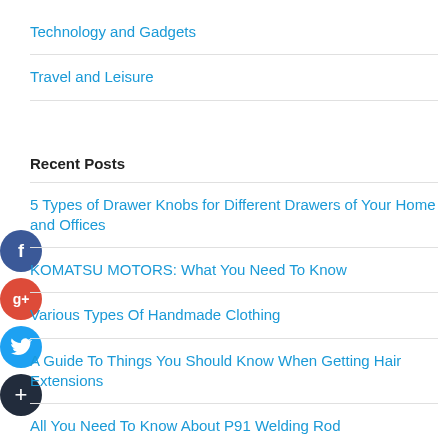Technology and Gadgets
Travel and Leisure
Recent Posts
5 Types of Drawer Knobs for Different Drawers of Your Home and Offices
KOMATSU MOTORS: What You Need To Know
Various Types Of Handmade Clothing
A Guide To Things You Should Know When Getting Hair Extensions
All You Need To Know About P91 Welding Rod
Tags